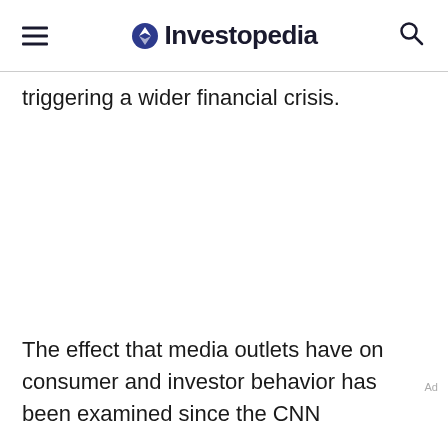Investopedia
triggering a wider financial crisis.
The effect that media outlets have on consumer and investor behavior has been examined since the CNN